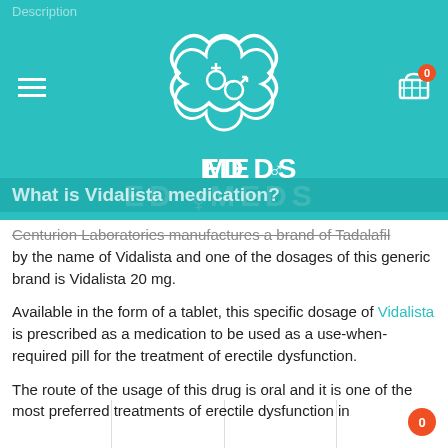Description
[Figure (logo): ED Meds logo with cross/gender symbol icon on teal background, with hamburger menu and shopping cart icons]
What is Vidalista medication?
Centurion Laboratories manufactures a brand of Tadalafil by the name of Vidalista and one of the dosages of this generic brand is Vidalista 20 mg.
Available in the form of a tablet, this specific dosage of Vidalista is prescribed as a medication to be used as a use-when-required pill for the treatment of erectile dysfunction.
The route of the usage of this drug is oral and it is one of the most preferred treatments of erectile dysfunction in